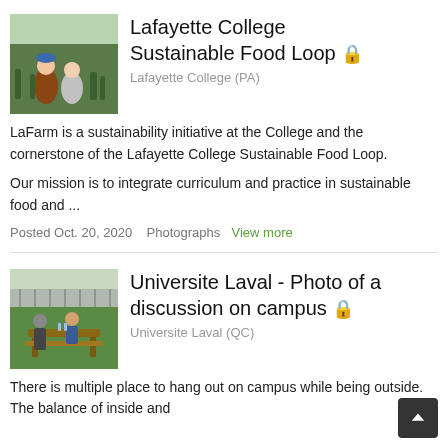[Figure (photo): Two people sitting in a garden/farm field harvesting vegetables]
Lafayette College Sustainable Food Loop 🔒
Lafayette College (PA)
LaFarm is a sustainability initiative at the College and the cornerstone of the Lafayette College Sustainable Food Loop.
Our mission is to integrate curriculum and practice in sustainable food and ...
Posted Oct. 20, 2020   Photographs   View more
[Figure (photo): Two people having a discussion at an outdoor picnic table on campus]
Universite Laval - Photo of a discussion on campus 🔒
Universite Laval (QC)
There is multiple place to hang out on campus while being outside. The balance of inside and